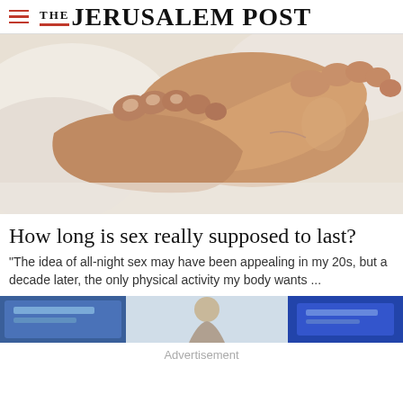THE JERUSALEM POST
[Figure (photo): Close-up photo of two pairs of feet intertwined on white bed sheets]
How long is sex really supposed to last?
"The idea of all-night sex may have been appealing in my 20s, but a decade later, the only physical activity my body wants ...
[Figure (photo): Partial advertisement image strip showing blue packaging and a person]
Advertisement